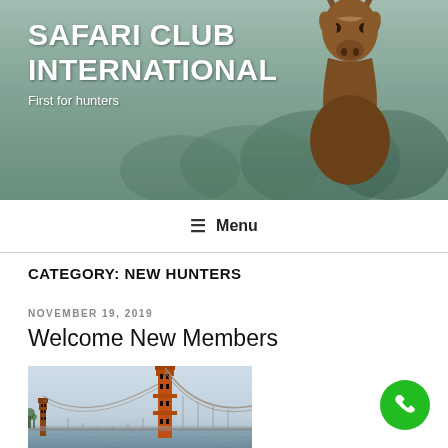[Figure (photo): Header banner with antelope/kudu against misty green background with large curved horns]
SAFARI CLUB INTERNATIONAL
First for hunters
≡ Menu
CATEGORY: NEW HUNTERS
NOVEMBER 19, 2019
Welcome New Members
[Figure (photo): Photo of Golden Gate Bridge in San Francisco with orange towers and suspension cables against a light sky]